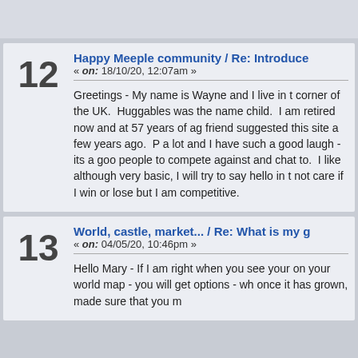12 Happy Meeple community / Re: Introduce... « on: 18/10/20, 12:07am » Greetings - My name is Wayne and I live in the corner of the UK. Huggables was the name child. I am retired now and at 57 years of age friend suggested this site a few years ago. P a lot and I have such a good laugh - its a goo people to compete against and chat to. I like although very basic, I will try to say hello in t not care if I win or lose but I am competitive.
13 World, castle, market... / Re: What is my g « on: 04/05/20, 10:46pm » Hello Mary - If I am right when you see your on your world map - you will get options - wh once it has grown, made sure that you m...